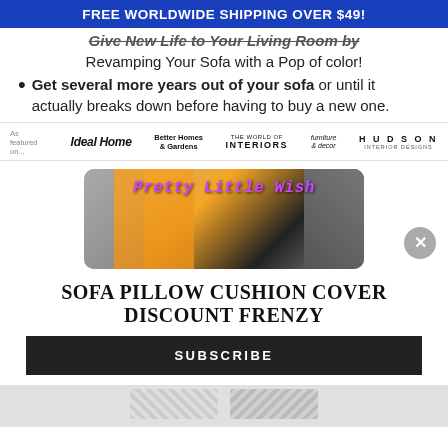FREE WORLDWIDE SHIPPING OVER $49!
Give New Life to Your Living Room by Revamping Your Sofa with a Pop of color!
Get several more years out of your sofa or until it actually breaks down before having to buy a new one.
[Figure (logo): Press logos bar: As featured on, Ideal Home, Better Homes & Gardens, Interiors, furniture &decor, HUDSON INTERIOR DESIGNS]
[Figure (screenshot): Video thumbnail showing textured fabric in gray and orange with the overlay text 'Pretty Little Wish' in purple italic font]
SOFA PILLOW CUSHION COVER DISCOUNT FRENZY
SUBSCRIBE